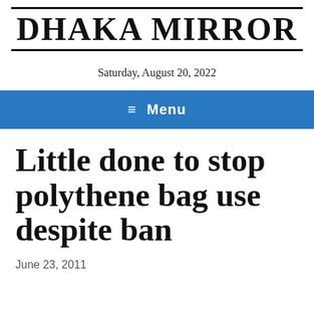DHAKA MIRROR
Saturday, August 20, 2022
≡ Menu
Little done to stop polythene bag use despite ban
June 23, 2011